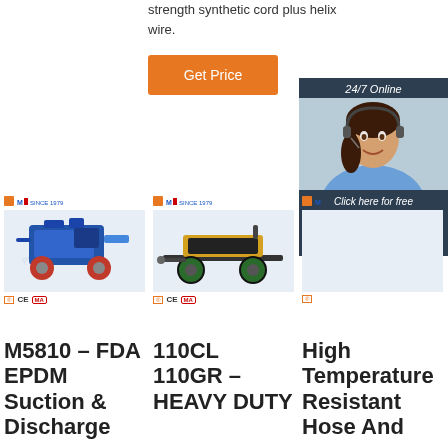strength synthetic cord plus helix wire.
Get Price
24/7 Online
[Figure (photo): Customer support agent wearing headset, smiling, with chat panel overlay showing '24/7 Online', 'Click here for free chat!', and 'QUOTATION' button]
[Figure (photo): Blue industrial grout pump machine on wheels, brand logo top-left, certification marks bottom]
[Figure (photo): Black heavy duty industrial equipment on wheeled trailer with yellow platform, brand logo top-left, certification marks bottom]
M5810 – FDA EPDM Suction & Discharge
110CL 110GR – HEAVY DUTY
High Temperature Resistant Hose And